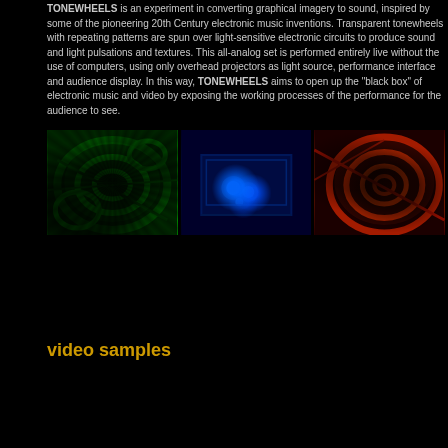TONEWHEELS is an experiment in converting graphical imagery to sound, inspired by some of the pioneering 20th Century electronic music inventions. Transparent tonewheels with repeating patterns are spun over light-sensitive electronic circuits to produce sound and light pulsations and textures. This all-analog set is performed entirely live without the use of computers, using only overhead projectors as light source, performance interface and audience display. In this way, TONEWHEELS aims to open up the "black box" of electronic music and video by exposing the working processes of the performance for the audience to see.
[Figure (photo): Three side-by-side photographs showing tonewheels performance. Left: green-tinted image showing circular wheel patterns. Center: blue-tinted image showing lit electronic equipment with glowing lights. Right: red/orange-tinted image showing circular spiral patterns.]
video samples